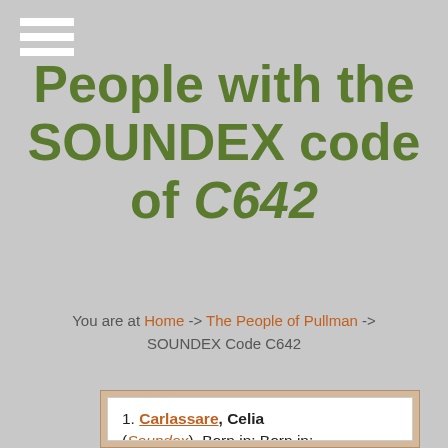People with the SOUNDEX code of C642
You are at Home -> The People of Pullman -> SOUNDEX Code C642
1. Carlassare, Celia (Soundex). Born in: Born in: United States (Indiana) Lived at: 704 112th Occupation: Occupation: None Source: 1930 Federal Census
2. Carlassare, Joe